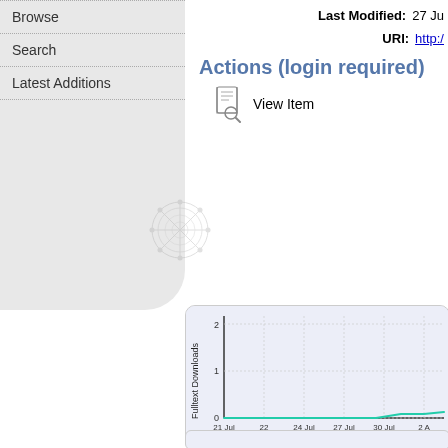Browse
Search
Latest Additions
Last Modified: 27 Ju...
URI: http://...
Actions (login required)
View Item
[Figure (line-chart): Fulltext Downloads]